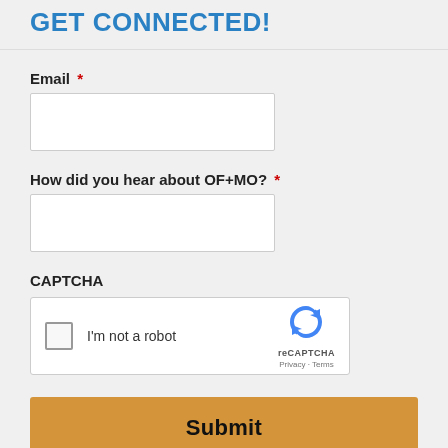GET CONNECTED!
Email *
[Figure (other): Empty email text input field]
How did you hear about OF+MO? *
[Figure (other): Empty text input field]
CAPTCHA
[Figure (other): reCAPTCHA widget with checkbox labeled I'm not a robot, reCAPTCHA logo, Privacy and Terms links]
Submit